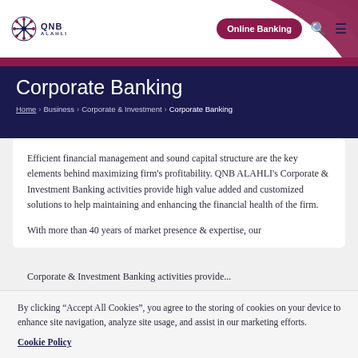QNB ALAHLI | Online Banking
Corporate Banking
Home > Business > Corporate & Investment > Corporate Banking
Efficient financial management and sound capital structure are the key elements behind maximizing firm's profitability. QNB ALAHLI's Corporate & Investment Banking activities provide high value added and customized solutions to help maintaining and enhancing the financial health of the firm.
With more than 40 years of market presence & expertise, our Corporate & Investment Banking activities provide...
By clicking “Accept All Cookies”, you agree to the storing of cookies on your device to enhance site navigation, analyze site usage, and assist in our marketing efforts.
Cookie Policy